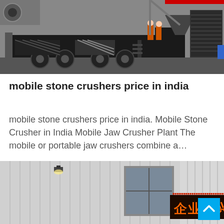[Figure (photo): Mobile stone crusher machine mounted on a truck chassis, showing heavy industrial equipment with conveyor and cone crusher components, parked outdoors.]
mobile stone crushers price in india
mobile stone crushers price in india. Mobile Stone Crusher in India Mobile Jaw Crusher Plant The mobile or portable jaw crushers combine a…
[Figure (photo): Exterior of an industrial factory building with corrugated metal siding, a light fixture, and a large illuminated LED sign displaying Chinese characters 企业要兴旺.]